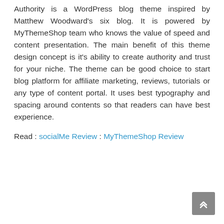Authority is a WordPress blog theme inspired by Matthew Woodward's six blog. It is powered by MyThemeShop team who knows the value of speed and content presentation. The main benefit of this theme design concept is it's ability to create authority and trust for your niche. The theme can be good choice to start blog platform for affiliate marketing, reviews, tutorials or any type of content portal. It uses best typography and spacing around contents so that readers can have best experience.
Read : socialMe Review : MyThemeShop Review